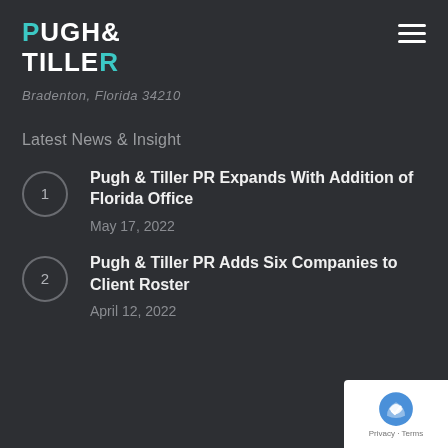PUGH & TILLER
Bradenton, Florida 34210
Latest News & Insight
1 — Pugh & Tiller PR Expands With Addition of Florida Office
May 17, 2022
2 — Pugh & Tiller PR Adds Six Companies to Client Roster
April 12, 2022